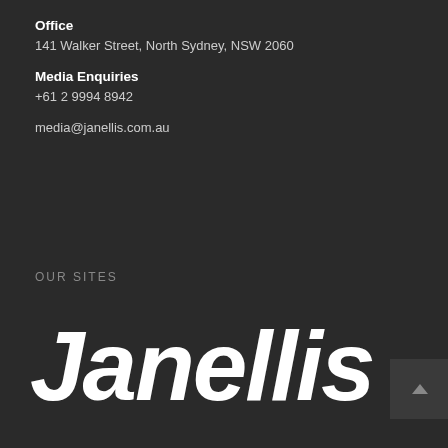Office
141 Walker Street, North Sydney, NSW 2060
Media Enquiries
+61 2 9994 8942
media@janellis.com.au
OUR SITES
[Figure (logo): Janellis logo in large white bold italic text]